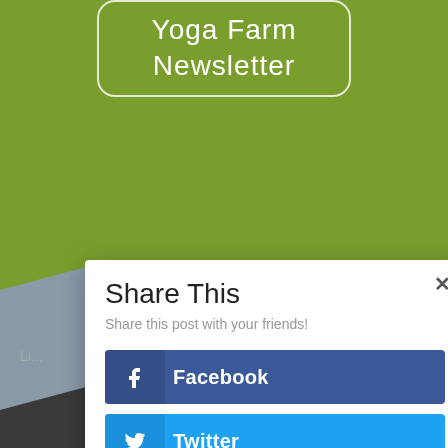[Figure (screenshot): Green background with 'Yoga Farm Newsletter' text in white inside a rounded rectangle border]
Share This
Share this post with your friends!
Facebook
Twitter